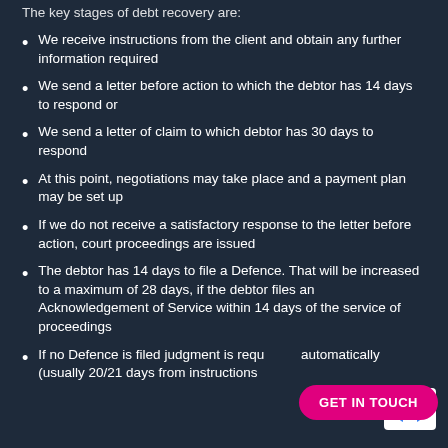The key stages of debt recovery are:
We receive instructions from the client and obtain any further information required
We send a letter before action to which the debtor has 14 days to respond or
We send a letter of claim to which debtor has 30 days to respond
At this point, negotiations may take place and a payment plan may be set up
If we do not receive a satisfactory response to the letter before action, court proceedings are issued
The debtor has 14 days to file a Defence. That will be increased to a maximum of 28 days, if the debtor files an Acknowledgement of Service within 14 days of the service of proceedings
If no Defence is filed judgment is requested automatically (usually 20/21 days from instructions to proceedings)